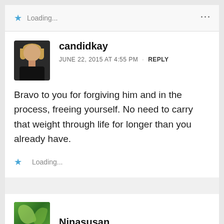Loading...
candidkay
JUNE 22, 2015 AT 4:55 PM · REPLY
Bravo to you for forgiving him and in the process, freeing yourself. No need to carry that weight through life for longer than you already have.
Loading...
Ninasusan